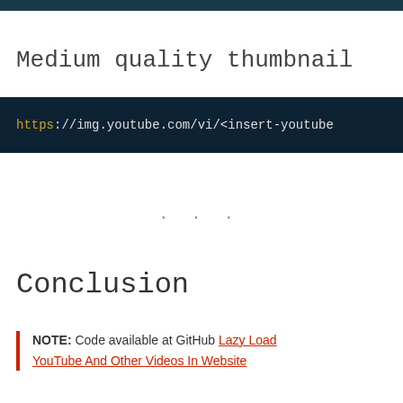Medium quality thumbnail
https://img.youtube.com/vi/<insert-youtube
· · ·
Conclusion
NOTE: Code available at GitHub Lazy Load YouTube And Other Videos In Website